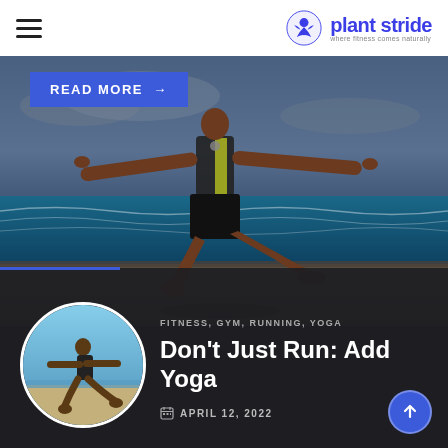plant stride — where fitness comes naturally
[Figure (photo): Man performing a yoga warrior pose on a beach, wearing a black and yellow sleeveless athletic top and black shorts, arms outstretched, ocean in background]
READ MORE →
FITNESS, GYM, RUNNING, YOGA
Don't Just Run: Add Yoga
APRIL 12, 2022